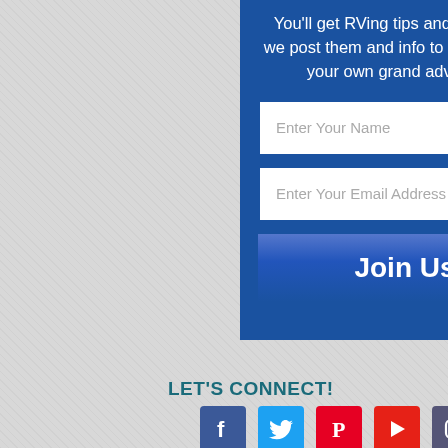You'll get RVing tips and updates as we post them and info to help you plan your own grand adventure.
[Figure (screenshot): Email signup form with name field, email field, and Join Us button on blue background]
LET'S CONNECT!
[Figure (infographic): Row of 5 social media icons: Facebook, Twitter, Pinterest, YouTube, Instagram]